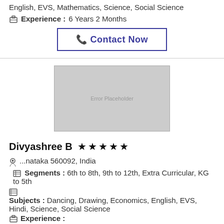English, EVS, Mathematics, Science, Social Science
Experience :6 Years 2 Months
Contact Now
[Figure (photo): Error Placeholder image area (gray rectangle with placeholder text)]
Divyashree B
...nataka 560092, India   Segments : 6th to 8th, 9th to 12th, Extra Curricular, KG to 5th
Subjects : Dancing, Drawing, Economics, English, EVS, Hindi, Science, Social Science
Experience :